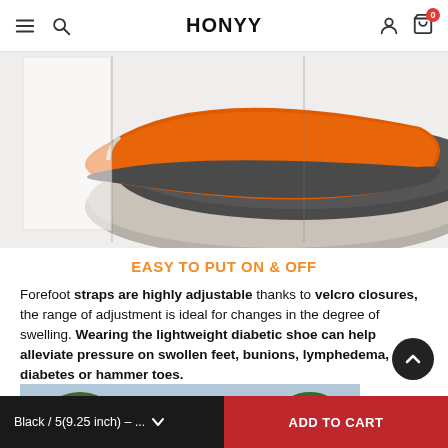HONYY — navigation bar with menu, search, account, cart icons
[Figure (photo): Shoe insoles product photo — orange/grey/beige orthotic insoles stacked, viewed from above, with vertical divider lines overlaid]
EASY TO PUT ON & OFF
Forefoot straps are highly adjustable thanks to velcro closures, the range of adjustment is ideal for changes in the degree of swelling. Wearing the lightweight diabetic shoe can help alleviate pressure on swollen feet, bunions, lymphedema, diabetes or hammer toes.
[Figure (photo): Outdoor photo — building exterior with greenery]
Black / 5(9.25 inch) – ...   ADD TO CART